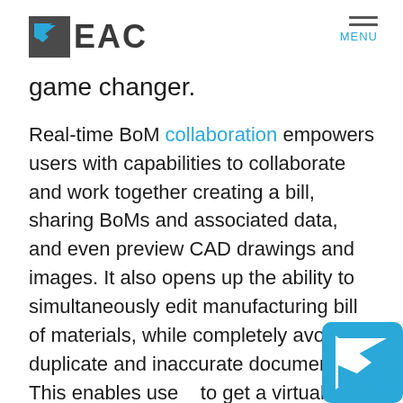EAC | MENU
game changer.
Real-time BoM collaboration empowers users with capabilities to collaborate and work together creating a bill, sharing BoMs and associated data, and even preview CAD drawings and images. It also opens up the ability to simultaneously edit manufacturing bill of materials, while completely avoiding duplicate and inaccurate documents. This enables users to get a virtual 'live view' of data.
[Figure (logo): EAC logo badge in blue square at bottom right corner]